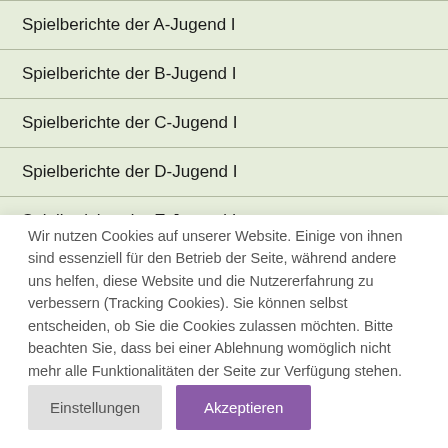Spielberichte der A-Jugend I
Spielberichte der B-Jugend I
Spielberichte der C-Jugend I
Spielberichte der D-Jugend I
Wir nutzen Cookies auf unserer Website. Einige von ihnen sind essenziell für den Betrieb der Seite, während andere uns helfen, diese Website und die Nutzererfahrung zu verbessern (Tracking Cookies). Sie können selbst entscheiden, ob Sie die Cookies zulassen möchten. Bitte beachten Sie, dass bei einer Ablehnung womöglich nicht mehr alle Funktionalitäten der Seite zur Verfügung stehen.
Einstellungen
Akzeptieren